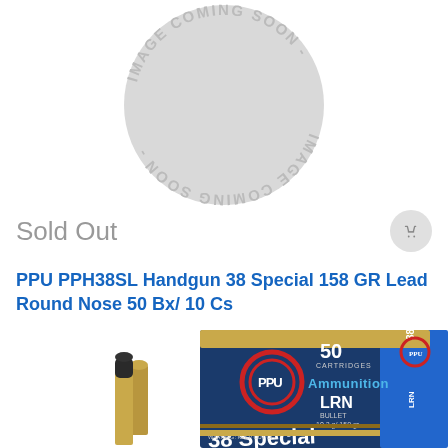[Figure (illustration): Gray circular placeholder image with text 'IMAGE COMING SOON' arranged in a circle]
Sold Out
[Figure (illustration): Gray circular cart/shopping icon button]
PPU PPH38SL Handgun 38 Special 158 GR Lead Round Nose 50 Bx/ 10 Cs
[Figure (photo): PPU ammunition box for 38 Special LRN (Lead Round Nose) 10.2g/158gr, 50 cartridges, shown with two loose cartridges beside the dark blue and blue box]